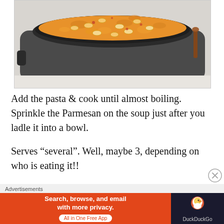[Figure (photo): A black slow cooker/crock pot filled with creamy orange-colored tortellini soup, viewed from above, sitting on a white countertop with a wooden spoon visible at the right edge.]
Add the pasta & cook until almost boiling. Sprinkle the Parmesan on the soup just after you ladle it into a bowl.
Serves “several”. Well, maybe 3, depending on who is eating it!!
Advertisements
[Figure (screenshot): DuckDuckGo advertisement banner. Left side has orange background with white bold text: 'Search, browse, and email with more privacy.' and a white pill button 'All in One Free App'. Right side has dark background with DuckDuckGo duck logo and text 'DuckDuckGo'.]